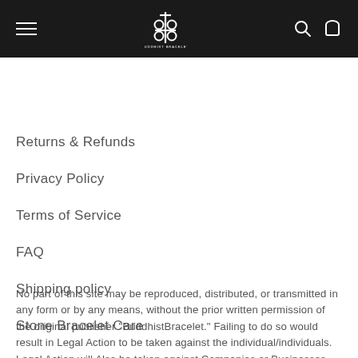BuddhistBracelet — navigation header with logo, hamburger menu, search and cart icons
Returns & Refunds
Privacy Policy
Terms of Service
FAQ
Shipping policy
Stone Bracelet Care
No part of this site may be reproduced, distributed, or transmitted in any form or by any means, without the prior written permission of the original publisher "BuddhistBracelet." Failing to do so would result in Legal Action to be taken against the individual/individuals. Legal Action will Also be taken against Companies or Businesses